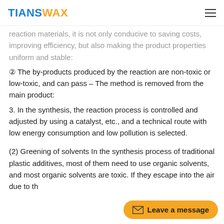TIANSWAX
reaction materials, it is not only conducive to saving costs, improving efficiency, but also making the product properties uniform and stable:
② The by-products produced by the reaction are non-toxic or low-toxic, and can pass – The method is removed from the main product:
3. In the synthesis, the reaction process is controlled and adjusted by using a catalyst, etc., and a technical route with low energy consumption and low pollution is selected.
(2) Greening of solvents In the synthesis process of traditional plastic additives, most of them need to use organic solvents, and most organic solvents are toxic. If they escape into the air due to th
Leave a message